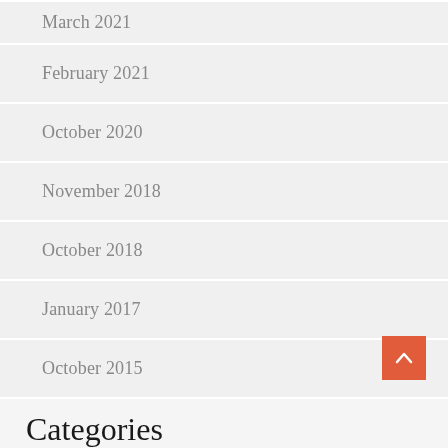March 2021
February 2021
October 2020
November 2018
October 2018
January 2017
October 2015
Categories